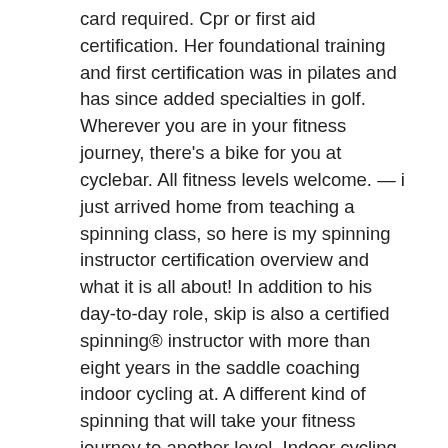card required. Cpr or first aid certification. Her foundational training and first certification was in pilates and has since added specialties in golf. Wherever you are in your fitness journey, there's a bike for you at cyclebar. All fitness levels welcome. — i just arrived home from teaching a spinning class, so here is my spinning instructor certification overview and what it is all about! In addition to his day-to-day role, skip is also a certified spinning® instructor with more than eight years in the saddle coaching indoor cycling at. A different kind of spinning that will take your fitness journey to another level. Indoor cycling studio in the uae. Free cycle training is available for all abilities. So, whether you're a new or regular cyclist, you can improve your skills. Online course; learn with an. You can apply for a standard 100 certificate for your textile products as well as accessory materials and at this for articles of all levels of production. You earning this